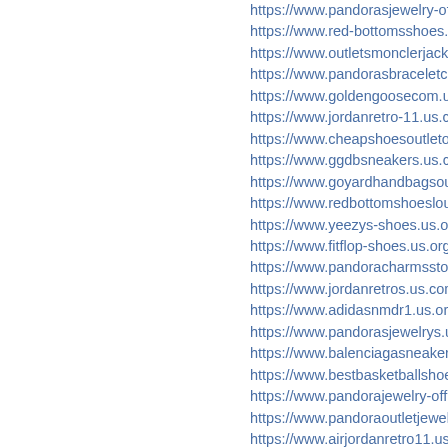https://www.pandorasjewelry-officialsite.us.
https://www.red-bottomsshoes.us.com/
https://www.outletsmonclerjackets.us.com/
https://www.pandorasbraceletcharms.us.co
https://www.goldengoosecom.us/
https://www.jordanretro-11.us.com/
https://www.cheapshoesoutletonlines.us/
https://www.ggdbsneakers.us.com/
https://www.goyardhandbagsoutlet.us.com
https://www.redbottomshoeslouboutin.us.c
https://www.yeezys-shoes.us.org/
https://www.fitflop-shoes.us.org/
https://www.pandoracharmsstore.us.com/
https://www.jordanretros.us.com/
https://www.adidasnmdr1.us.org/
https://www.pandorasjewelrys.us.com/
https://www.balenciagasneakerssales.us.c
https://www.bestbasketballshoes.us/
https://www.pandorajewelry-officialsites.us/
https://www.pandoraoutletjewelry.us.com/
https://www.airjordanretro11.us.com/
https://www.pandoracharmsjewelrys.us/